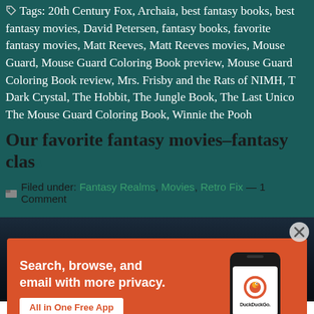Tags: 20th Century Fox, Archaia, best fantasy books, best fantasy movies, David Petersen, fantasy books, favorite fantasy movies, Matt Reeves, Matt Reeves movies, Mouse Guard, Mouse Guard Coloring Book preview, Mouse Guard Coloring Book review, Mrs. Frisby and the Rats of NIMH, The Dark Crystal, The Hobbit, The Jungle Book, The Last Unicorn, The Mouse Guard Coloring Book, Winnie the Pooh
Our favorite fantasy movies–fantasy class
Filed under: Fantasy Realms, Movies, Retro Fix — 1 Comment
[Figure (photo): Dark blue-toned photo used as background/banner for next article]
[Figure (other): DuckDuckGo advertisement banner: orange background with headline 'Search, browse, and email with more privacy.' and 'All in One Free App' CTA button, plus DuckDuckGo logo on a smartphone mockup]